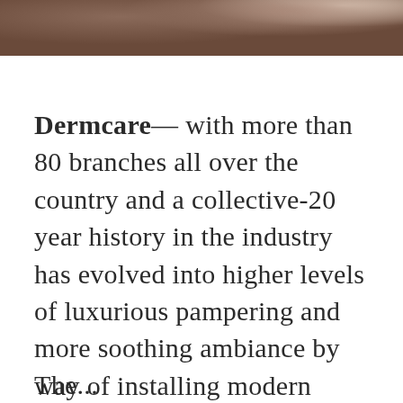[Figure (photo): Partial photo strip at top of page showing dark tones, appears to be a portrait or scene with dark hair and light background]
Dermcare— with more than 80 branches all over the country and a collective-20 year history in the industry has evolved into higher levels of luxurious pampering and more soothing ambiance by way of installing modern state-of-the-art facilities to ensure it's valued client's satisfaction.
The...